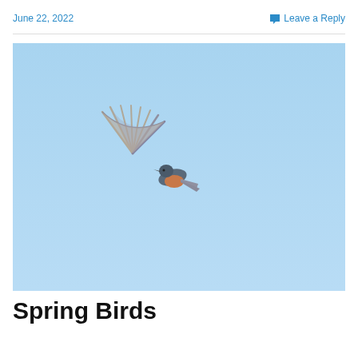June 22, 2022   Leave a Reply
[Figure (photo): A small bird (appears to be a bluebird or similar species) in flight against a clear light blue sky, with wings spread wide, showing brown/rust breast and blue-gray wings]
Spring Birds